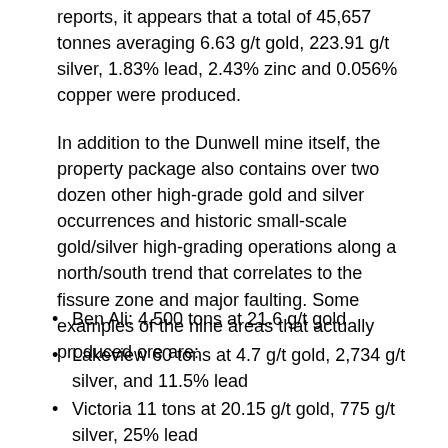reports, it appears that a total of 45,657 tonnes averaging 6.63 g/t gold, 223.91 g/t silver, 1.83% lead, 2.43% zinc and 0.056% copper were produced.
In addition to the Dunwell mine itself, the property package also contains over two dozen other high-grade gold and silver occurrences and historic small-scale gold/silver high-grading operations along a north/south trend that correlates to the fissure zone and major faulting. Some examples of the nine areas that actually produced ore are:
Ben Ali: 4,500 tons at 21.6 g/t gold
Lakeview 60 tons at 4.7 g/t gold, 2,734 g/t silver, and 11.5% lead
Victoria 11 tons at 20.15 g/t gold, 775 g/t silver, 25% lead
Tyee 8.2 tons at 124.4 g/t gold and 4,478.8 g/t silver
George E 12 tons at 13 g/t gold and 3,250 g/t silver, 23.3% lead
Each of these areas were producing during the 1930's when exploration techniques and technology was very primitive